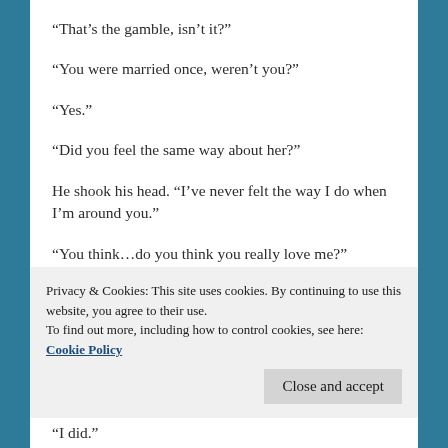“That’s the gamble, isn’t it?”
“You were married once, weren’t you?”
“Yes.”
“Did you feel the same way about her?”
He shook his head. “I’ve never felt the way I do when I’m around you.”
“You think…do you think you really love me?”
“If love is wanting to be with you, to take care of you,
Privacy & Cookies: This site uses cookies. By continuing to use this website, you agree to their use.
To find out more, including how to control cookies, see here: Cookie Policy
“I did.”